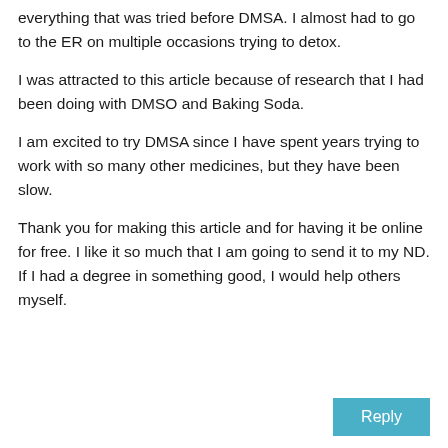everything that was tried before DMSA. I almost had to go to the ER on multiple occasions trying to detox.
I was attracted to this article because of research that I had been doing with DMSO and Baking Soda.
I am excited to try DMSA since I have spent years trying to work with so many other medicines, but they have been slow.
Thank you for making this article and for having it be online for free. I like it so much that I am going to send it to my ND. If I had a degree in something good, I would help others myself.